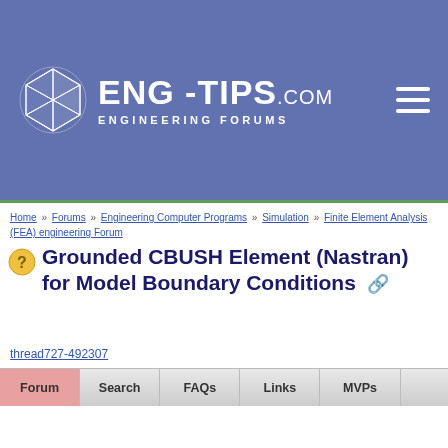ENG-TIPS.COM ENGINEERING FORUMS
Home » Forums » Engineering Computer Programs » Simulation » Finite Element Analysis (FEA) engineering Forum
Grounded CBUSH Element (Nastran) for Model Boundary Conditions 🔗
thread727-492307
Forum | Search | FAQs | Links | MVPs